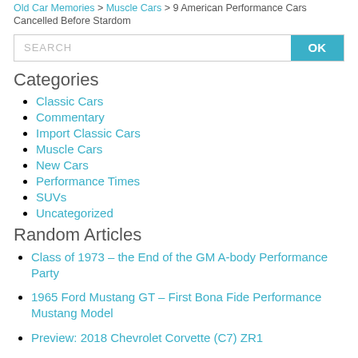Old Car Memories > Muscle Cars > 9 American Performance Cars Cancelled Before Stardom
SEARCH OK
Categories
Classic Cars
Commentary
Import Classic Cars
Muscle Cars
New Cars
Performance Times
SUVs
Uncategorized
Random Articles
Class of 1973 – the End of the GM A-body Performance Party
1965 Ford Mustang GT – First Bona Fide Performance Mustang Model
Preview: 2018 Chevrolet Corvette (C7) ZR1